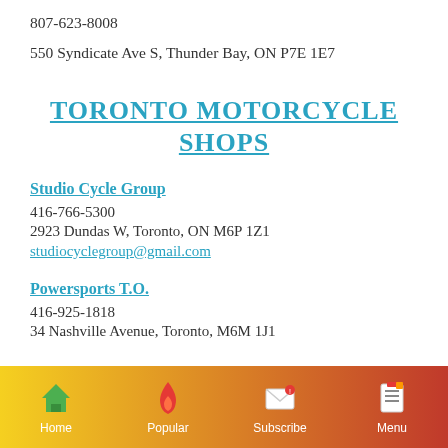807-623-8008
550 Syndicate Ave S, Thunder Bay, ON P7E 1E7
TORONTO MOTORCYCLE SHOPS
Studio Cycle Group
416-766-5300
2923 Dundas W, Toronto, ON M6P 1Z1
studiocyclegroup@gmail.com
Powersports T.O.
416-925-1818
34 Nashville Avenue, Toronto, M6M 1J1
Home | Popular | Subscribe | Menu